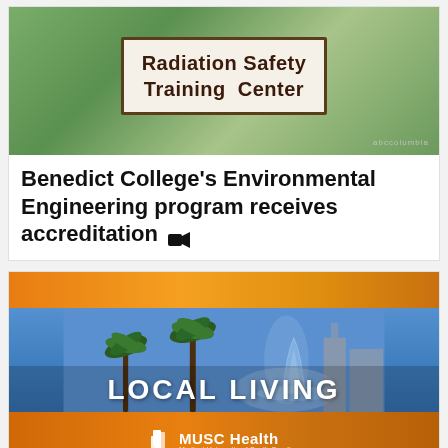[Figure (photo): Photo of a Radiation Safety Training Center sign, surrounded by green foliage]
Benedict College's Environmental Engineering program receives accreditation 🎥
[Figure (photo): Local Living TV segment graphic with blue city background, palm trees, fountain, orange borders, and MUSC Health logo]
Local Living: Cola Jazz Fest and